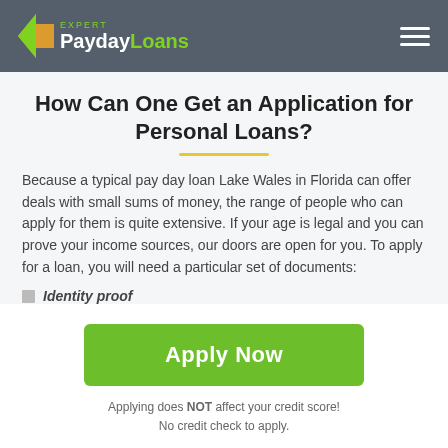PaydayLoans EXPERT
How Can One Get an Application for Personal Loans?
Because a typical pay day loan Lake Wales in Florida can offer deals with small sums of money, the range of people who can apply for them is quite extensive. If your age is legal and you can prove your income sources, our doors are open for you. To apply for a loan, you will need a particular set of documents:
Identity proof
[Figure (other): Green Apply Now button]
Applying does NOT affect your credit score! No credit check to apply.